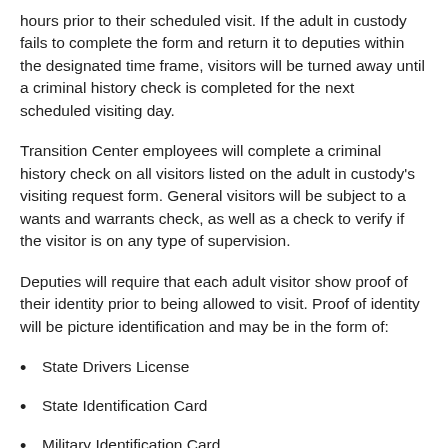hours prior to their scheduled visit. If the adult in custody fails to complete the form and return it to deputies within the designated time frame, visitors will be turned away until a criminal history check is completed for the next scheduled visiting day.
Transition Center employees will complete a criminal history check on all visitors listed on the adult in custody's visiting request form. General visitors will be subject to a wants and warrants check, as well as a check to verify if the visitor is on any type of supervision.
Deputies will require that each adult visitor show proof of their identity prior to being allowed to visit. Proof of identity will be picture identification and may be in the form of:
State Drivers License
State Identification Card
Military Identification Card